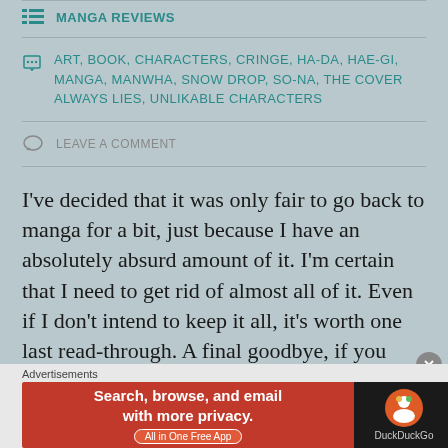MANGA REVIEWS
ART, BOOK, CHARACTERS, CRINGE, HA-DA, HAE-GI, MANGA, MANWHA, SNOW DROP, SO-NA, THE COVER ALWAYS LIES, UNLIKABLE CHARACTERS
LEAVE A COMMENT
I've decided that it was only fair to go back to manga for a bit, just because I have an absolutely absurd amount of it. I'm certain that I need to get rid of almost all of it. Even if I don't intend to keep it all, it's worth one last read-through. A final goodbye, if you
Advertisements
[Figure (screenshot): DuckDuckGo advertisement banner: 'Search, browse, and email with more privacy. All in One Free App' with DuckDuckGo logo on dark background]